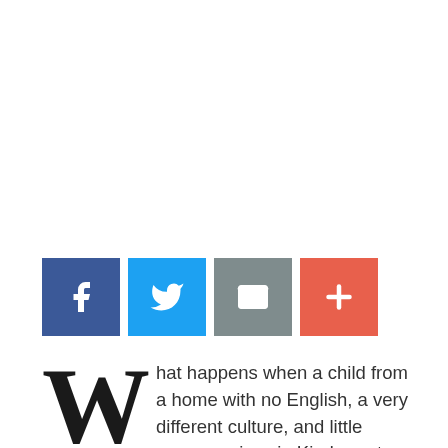[Figure (infographic): Social sharing buttons: Facebook (blue), Twitter (light blue), Email (gray), Plus/More (orange-red)]
What happens when a child from a home with no English, a very different culture, and little money arrives in Kindergarten in